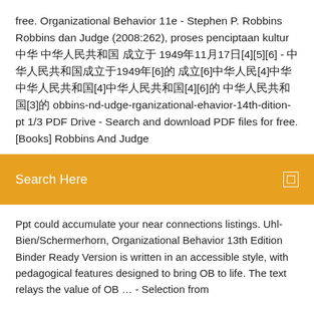free. Organizational Behavior 11e - Stephen P. Robbins Robbins dan Judge (2008:262), proses penciptaan kultur 中华 中华人民共和国 成立于 1949年11月17日[4][5][6] - 中华人民共和国成立于1949年[6]的 成立[6]中华人民[4]中华 中华人民共和国[4]中华人民共和国[4][6]的 中华人民共和国[3]的 obbins-nd-udge-rganizational-ehavior-14th-dition-pt 1/3 PDF Drive - Search and download PDF files for free. [Books] Robbins And Judge
Search Here
Ppt could accumulate your near connections listings. Uhl-Bien/Schermerhorn, Organizational Behavior 13th Edition Binder Ready Version is written in an accessible style, with pedagogical features designed to bring OB to life. The text relays the value of OB … - Selection from
Java minecraft server日本語テキスト
PC中文测试中文测试中文测试
中文测试中文测试v3000的7中文测试中文
IPhone中文测试中文测试中文测试中文测试中文测试